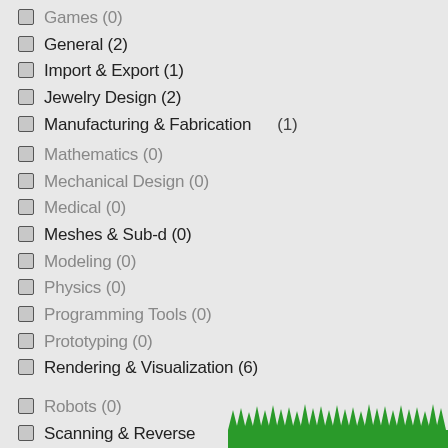Games (0)
General (2)
Import & Export (1)
Jewelry Design (2)
Manufacturing & Fabrication (1)
Mathematics (0)
Mechanical Design (0)
Medical (0)
Meshes & Sub-d (0)
Modeling (0)
Physics (0)
Programming Tools (0)
Prototyping (0)
Rendering & Visualization (6)
Robots (0)
Scanning & Reverse Engineering (0)
Viewers (0)
[Figure (illustration): Green grass/spikes decorative element at bottom right of page]